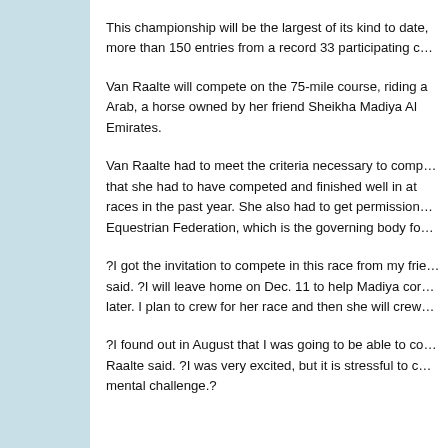This championship will be the largest of its kind to date, with more than 150 entries from a record 33 participating c…
Van Raalte will compete on the 75-mile course, riding a Arab, a horse owned by her friend Sheikha Madiya Al Emirates.
Van Raalte had to meet the criteria necessary to comp… that she had to have competed and finished well in at races in the past year. She also had to get permission… Equestrian Federation, which is the governing body fo…
?I got the invitation to compete in this race from my fri… said. ?I will leave home on Dec. 11 to help Madiya cor… later. I plan to crew for her race and then she will crew…
?I found out in August that I was going to be able to c… Raalte said. ?I was very excited, but it is stressful to c… mental challenge.?